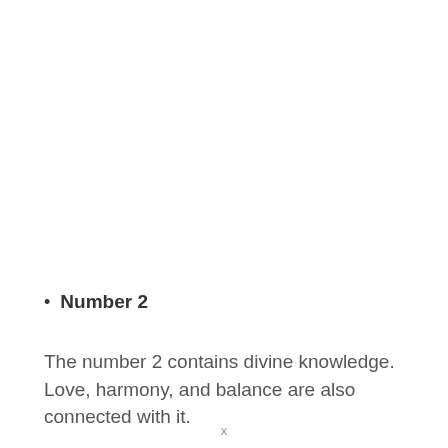Number 2
The number 2 contains divine knowledge. Love, harmony, and balance are also connected with it.
x